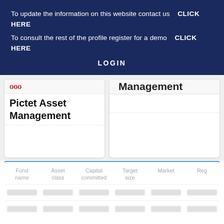To update the information on this website contact us   CLICK HERE
To consult the rest of the profile register for a demo   CLICK HERE
LOGIN
[Figure (other): Two company profile cards showing Pictet Asset Management logo and name on the left card, and a partially visible management company name on the right card]
| Fund name | Asset class | Capital committed | Target size | Market | Reg |
| --- | --- | --- | --- | --- | --- |
| [blurred] | [blurred] | [blurred] | [blurred] | [blurred] | [blurred] |
| [blurred] | [blurred] | [blurred] | [blurred] | [blurred] | [blurred] |